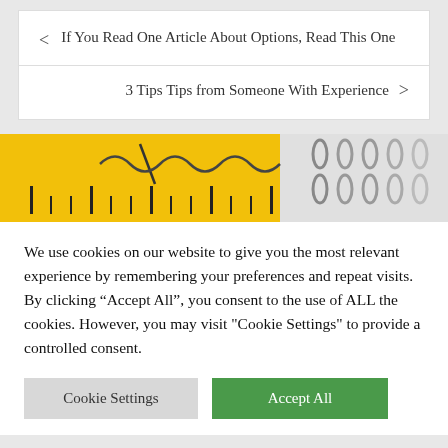< If You Read One Article About Options, Read This One
3 Tips Tips from Someone With Experience >
[Figure (photo): Close-up photo of a yellow ruler or measuring tape with black markings and metal binding clips on a spiral notebook]
We use cookies on our website to give you the most relevant experience by remembering your preferences and repeat visits. By clicking "Accept All", you consent to the use of ALL the cookies. However, you may visit "Cookie Settings" to provide a controlled consent.
Cookie Settings
Accept All